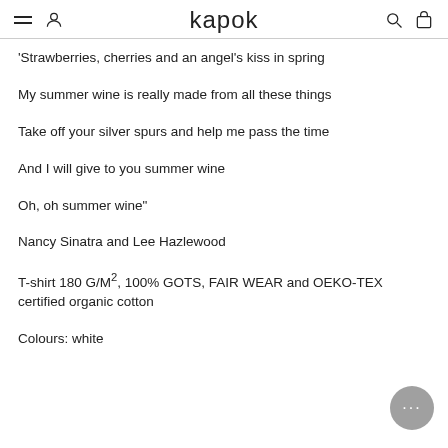kapok
'Strawberries, cherries and an angel's kiss in spring
My summer wine is really made from all these things
Take off your silver spurs and help me pass the time
And I will give to you summer wine
Oh, oh summer wine"
Nancy Sinatra and Lee Hazlewood
T-shirt 180 G/M², 100% GOTS, FAIR WEAR and OEKO-TEX certified organic cotton
Colours: white